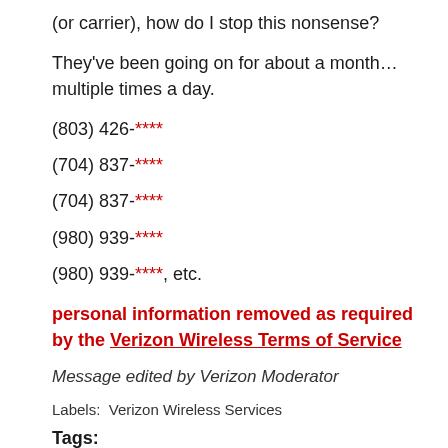(or carrier), how do I stop this nonsense?
They've been going on for about a month…multiple times a day.
(803) 426-****
(704) 837-****
(704) 837-****
(980) 939-****
(980) 939-****, etc.
personal information removed as required by the Verizon Wireless Terms of Service
Message edited by Verizon Moderator
Labels:  Verizon Wireless Services
Tags: